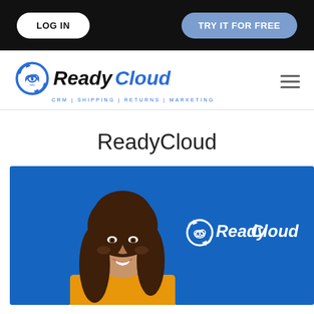LOG IN | TRY IT FOR FREE
[Figure (logo): ReadyCloud logo with circular cloud icon and tagline CRM | SHIPPING | RETURNS | MARKETING]
ReadyCloud
[Figure (photo): Hero image on blue background showing a smiling brunette woman in yellow top with ReadyCloud logo overlay on the right side]